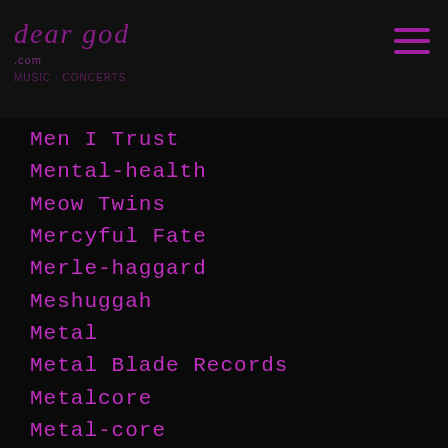dear god .com
Men I Trust
Mental-health
Meow Twins
Mercyful Fate
Merle-haggard
Meshuggah
Metal
Metal Blade Records
Metalcore
Metal-core
Metallica
Metalocalypse
Meteors
Method Acting
Method Man
MF Doom
MGMT